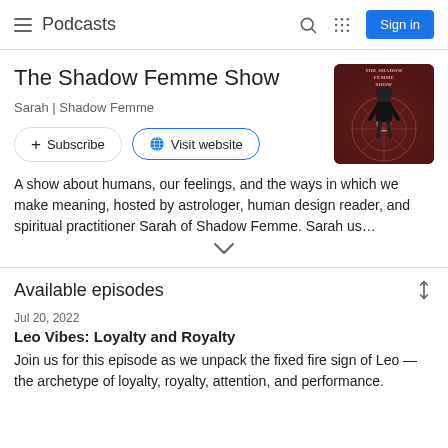Podcasts
The Shadow Femme Show
Sarah | Shadow Femme
[Figure (photo): Podcast cover art for The Shadow Femme Show showing a person standing in front of a dark red background with zodiac symbols]
+ Subscribe
Visit website
A show about humans, our feelings, and the ways in which we make meaning, hosted by astrologer, human design reader, and spiritual practitioner Sarah of Shadow Femme. Sarah us...
Available episodes
Jul 20, 2022
Leo Vibes: Loyalty and Royalty
Join us for this episode as we unpack the fixed fire sign of Leo —the archetype of loyalty, royalty, attention, and performance.